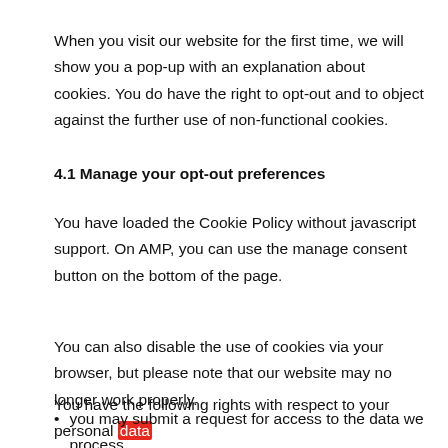When you visit our website for the first time, we will show you a pop-up with an explanation about cookies. You do have the right to opt-out and to object against the further use of non-functional cookies.
4.1 Manage your opt-out preferences
You have loaded the Cookie Policy without javascript support. On AMP, you can use the manage consent button on the bottom of the page.
You can also disable the use of cookies via your browser, but please note that our website may no longer work properly.
You have the following rights with respect to your personal data
you may submit a request for access to the data we process